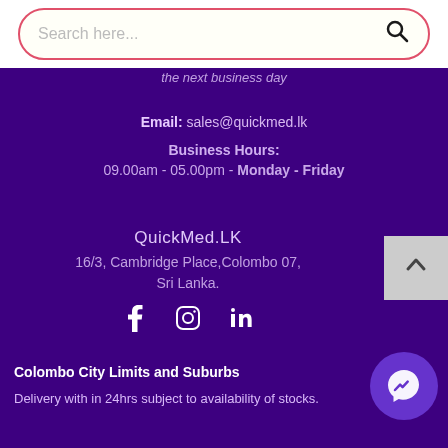Search here...
the next business day
Email: sales@quickmed.lk
Business Hours:
09.00am - 05.00pm - Monday - Friday
QuickMed.LK
16/3, Cambridge Place,Colombo 07, Sri Lanka.
[Figure (other): Social media icons: Facebook, Instagram, LinkedIn]
[Figure (other): Back to top button with upward chevron arrow]
[Figure (other): Facebook Messenger chat button]
Colombo City Limits and Suburbs
Delivery with in 24hrs subject to availability of stocks.